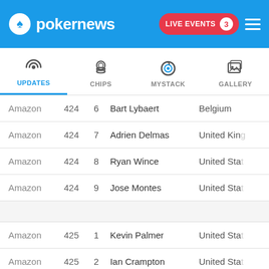pokernews | LIVE EVENTS 3
[Figure (infographic): Navigation tabs: UPDATES (active, with radio wave icon), CHIPS (with chips icon), MYSTACK (with target icon), GALLERY (with image icon)]
| Area | Table | Seat | Name | Country |
| --- | --- | --- | --- | --- |
| Amazon | 424 | 6 | Bart Lybaert | Belgium |
| Amazon | 424 | 7 | Adrien Delmas | United King |
| Amazon | 424 | 8 | Ryan Wince | United Stat |
| Amazon | 424 | 9 | Jose Montes | United Stat |
|  |  |  |  |  |
| Amazon | 425 | 1 | Kevin Palmer | United Stat |
| Amazon | 425 | 2 | Ian Crampton | United Stat |
| Amazon | 425 | 3 | Daniel Lipszyc | United Stat |